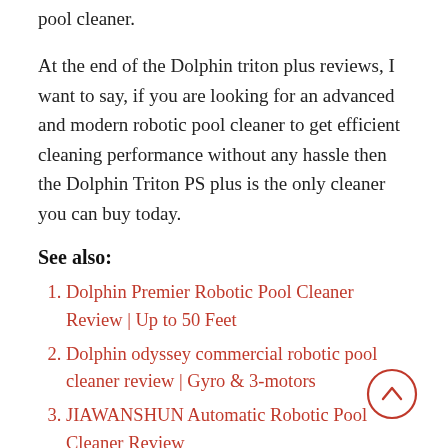pool cleaner.
At the end of the Dolphin triton plus reviews, I want to say, if you are looking for an advanced and modern robotic pool cleaner to get efficient cleaning performance without any hassle then the Dolphin Triton PS plus is the only cleaner you can buy today.
See also:
Dolphin Premier Robotic Pool Cleaner Review | Up to 50 Feet
Dolphin odyssey commercial robotic pool cleaner review | Gyro & 3-motors
JIAWANSHUN Automatic Robotic Pool Cleaner Review
Dolphin nautilus cc robotic pool cleaner